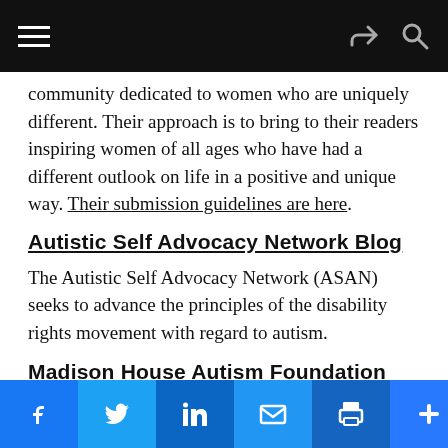[Navigation bar with hamburger menu, share icon, and search icon]
community dedicated to women who are uniquely different. Their approach is to bring to their readers inspiring women of all ages who have had a different outlook on life in a positive and unique way. Their submission guidelines are here.
Autistic Self Advocacy Network Blog
The Autistic Self Advocacy Network (ASAN) seeks to advance the principles of the disability rights movement with regard to autism.
Madison House Autism Foundation
Madison House Autism Foundation is a nonprofit dedicated to creating bright futures for autistic